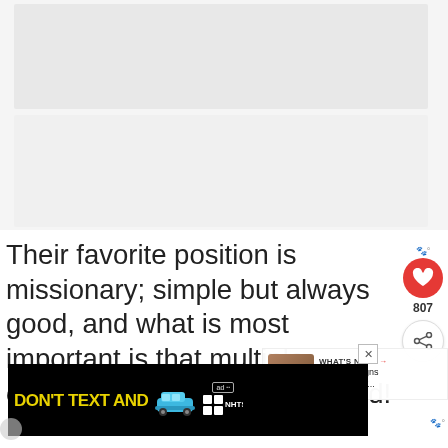[Figure (photo): Large placeholder image area at top of page, light gray background with inner white/gray block]
Their favorite position is missionary; simple but always good, and what is most important is that multiple org... are 100% guaranteed!
[Figure (infographic): Red heart like button with count 807, and share button below]
[Figure (infographic): WHAT'S NEXT panel with thumbnail and text: 4 Zodiac Signs That Have T...]
[Figure (screenshot): Ad banner: DON'T TEXT AND [car image] with ad badge and NHTSA logo on black background]